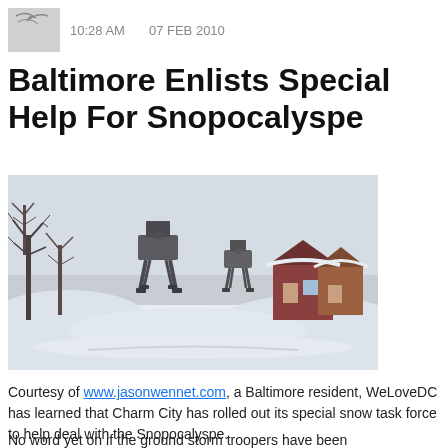10:28 AM   07 FEB 2010
Baltimore Enlists Special Help For Snopocalyspe
[Figure (photo): Snowy neighborhood street scene with AT-AT walkers from Star Wars photoshopped in, bare trees on left, houses on right, heavy snow coverage everywhere.]
Courtesy of www.jasonwennet.com, a Baltimore resident, WeLoveDC has learned that Charm City has rolled out its special snow task force to help deal with the Snopocalyspe.
No word yet on if the ground storm troopers have been